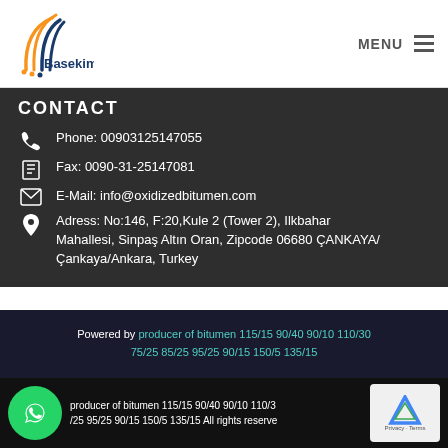Basekim | MENU
CONTACT
Phone: 00903125147055
Fax: 0090-31-25147081
E-Mail: info@oxidizedbitumen.com
Adress: No:146, F:20, Kule 2 (Tower 2), Ilkbahar Mahallesi, Sinpaş Altın Oran, Zipcode 06680 ÇANKAYA/Çankaya/Ankara, Turkey
Powered by producer of bitumen 115/15 90/40 90/10 110/30 75/25 85/25 95/25 90/15 150/5 135/15
producer of bitumen 115/15 90/40 90/10 110/30 75/25 85/25 95/25 90/15 150/5 135/15 All rights reserved